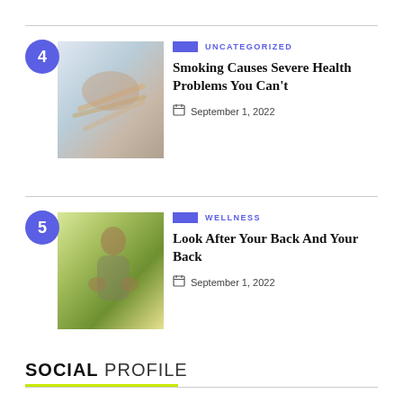4 UNCATEGORIZED — Smoking Causes Severe Health Problems You Can't — September 1, 2022
5 WELLNESS — Look After Your Back And Your Back — September 1, 2022
SOCIAL PROFILE